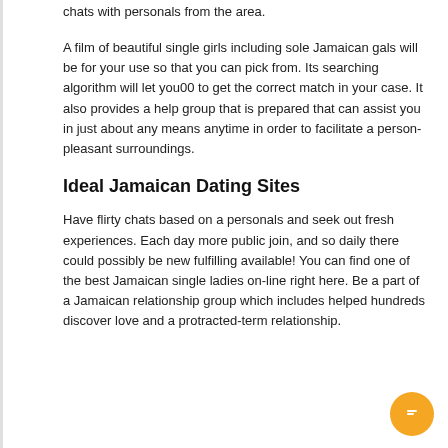chats with personals from the area.
A film of beautiful single girls including sole Jamaican gals will be for your use so that you can pick from. Its searching algorithm will let you00 to get the correct match in your case. It also provides a help group that is prepared that can assist you in just about any means anytime in order to facilitate a person-pleasant surroundings.
Ideal Jamaican Dating Sites
Have flirty chats based on a personals and seek out fresh experiences. Each day more public join, and so daily there could possibly be new fulfilling available! You can find one of the best Jamaican single ladies on-line right here. Be a part of a Jamaican relationship group which includes helped hundreds discover love and a protracted-term relationship.